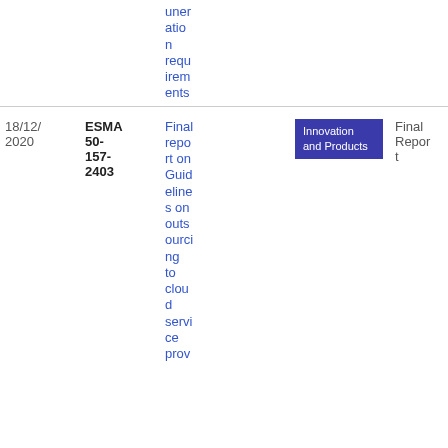uneration requirements
| Date | Reference | Title | Category | Type | File |
| --- | --- | --- | --- | --- | --- |
| 18/12/2020 | ESMA 50-157-2403 | Final report on Guidelines on outsourcing to cloud service prov... | Innovation and Products | Final Report | PDF 384.63 KB |